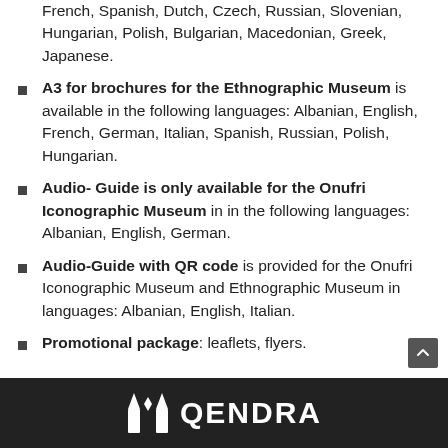French, Spanish, Dutch, Czech, Russian, Slovenian, Hungarian, Polish, Bulgarian, Macedonian, Greek, Japanese.
A3 for brochures for the Ethnographic Museum is available in the following languages: Albanian, English, French, German, Italian, Spanish, Russian, Polish, Hungarian.
Audio- Guide is only available for the Onufri Iconographic Museum in in the following languages: Albanian, English, German.
Audio-Guide with QR code is provided for the Onufri Iconographic Museum and Ethnographic Museum in languages: Albanian, English, Italian.
Promotional package: leaflets, flyers.
QENDRA